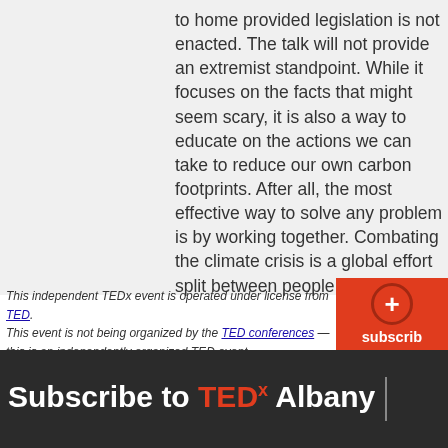to home provided legislation is not enacted. The talk will not provide an extremist standpoint. While it focuses on the facts that might seem scary, it is also a way to educate on the actions we can take to reduce our own carbon footprints. After all, the most effective way to solve any problem is by working together. Combating the climate crisis is a global effort split between people and
This independent TEDx event is operated under license from TED. This event is not being organized by the TED conferences — this is an independently organized TED event.
Subscribe to TEDx Albany